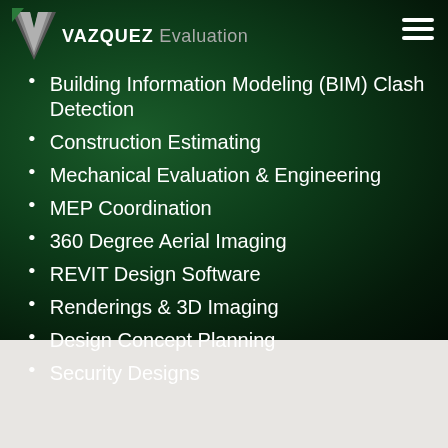VAZQUEZ Evaluation
Building Information Modeling (BIM) Clash Detection
Construction Estimating
Mechanical Evaluation & Engineering
MEP Coordination
360 Degree Aerial Imaging
REVIT Design Software
Renderings & 3D Imaging
Design Concept Planning
Security Designs